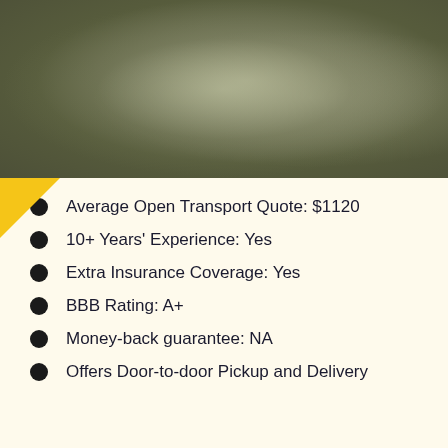[Figure (photo): Blurred olive/khaki toned background photo, possibly a vehicle or outdoor scene in muted greens and grays]
Average Open Transport Quote: $1120
10+ Years' Experience: Yes
Extra Insurance Coverage: Yes
BBB Rating: A+
Money-back guarantee: NA
Offers Door-to-door Pickup and Delivery